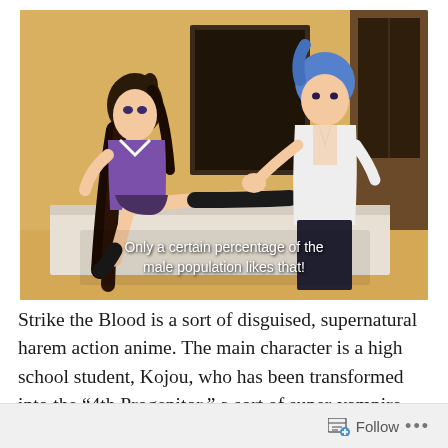[Figure (screenshot): Anime screenshot from 'Strike the Blood' showing a female character with long dark hair sitting on a bed with one leg extended, wearing a purple outfit and black thigh-high socks. A male character with blue hair stands nearby in a white shirt and dark pants. Subtitle text reads: 'Only a certain percentage of the male population likes that!']
Strike the Blood is a sort of disguised, supernatural harem action anime. The main character is a high school student, Kojou, who has been transformed into the “4th Progenitor,” a sort of super-vampire who could upset the balance of the other three super-vampires. In response, various
Follow ...